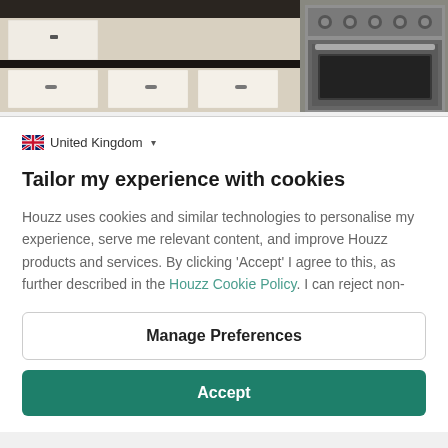[Figure (photo): Kitchen photo showing white cabinets with dark countertops on the left and a stainless steel oven/range on the right]
United Kingdom ▾
Tailor my experience with cookies
Houzz uses cookies and similar technologies to personalise my experience, serve me relevant content, and improve Houzz products and services. By clicking 'Accept' I agree to this, as further described in the Houzz Cookie Policy. I can reject non-
Manage Preferences
Accept